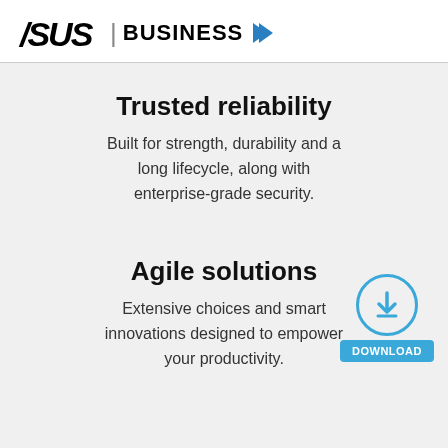ASUS | BUSINESS
Trusted reliability
Built for strength, durability and a long lifecycle, along with enterprise-grade security.
Agile solutions
Extensive choices and smart innovations designed to empower your productivity.
[Figure (other): Download button with blue circle download icon and blue DOWNLOAD label]